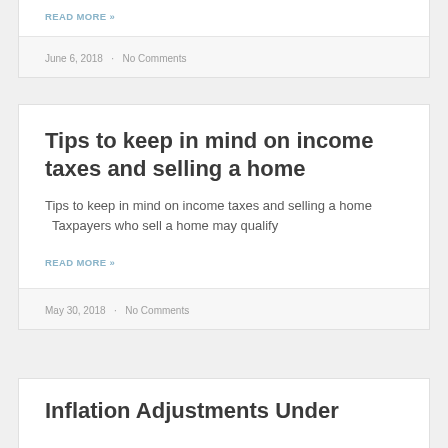READ MORE »
June 6, 2018 · No Comments
Tips to keep in mind on income taxes and selling a home
Tips to keep in mind on income taxes and selling a home   Taxpayers who sell a home may qualify
READ MORE »
May 30, 2018 · No Comments
Inflation Adjustments Under